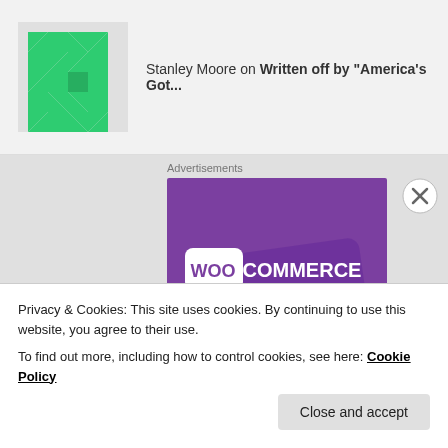Stanley Moore on Written off by "America's Got...
[Figure (illustration): WooCommerce advertisement banner with purple gradient background and WooCommerce logo in white text]
Advertisements
Privacy & Cookies: This site uses cookies. By continuing to use this website, you agree to their use.
To find out more, including how to control cookies, see here: Cookie Policy
Close and accept